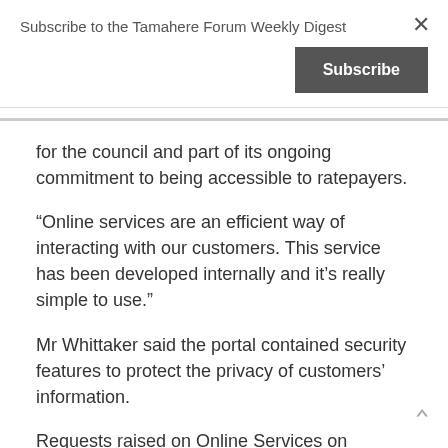Subscribe to the Tamahere Forum Weekly Digest
for the council and part of its ongoing commitment to being accessible to ratepayers.
“Online services are an efficient way of interacting with our customers. This service has been developed internally and it’s really simple to use.”
Mr Whittaker said the portal contained security features to protect the privacy of customers’ information.
Requests raised on Online Services on weekends or outside of working hours (8am – 5pm) will be processed on the next working day, so people are